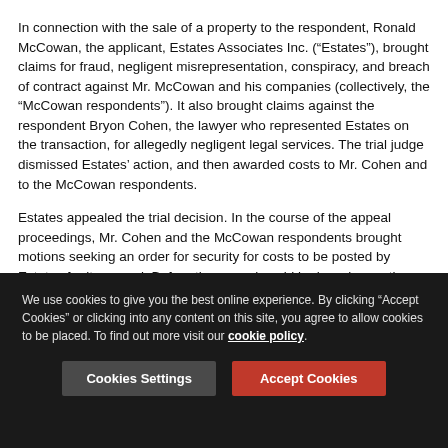In connection with the sale of a property to the respondent, Ronald McCowan, the applicant, Estates Associates Inc. (“Estates”), brought claims for fraud, negligent misrepresentation, conspiracy, and breach of contract against Mr. McCowan and his companies (collectively, the “McCowan respondents”). It also brought claims against the respondent Bryon Cohen, the lawyer who represented Estates on the transaction, for allegedly negligent legal services. The trial judge dismissed Estates’ action, and then awarded costs to Mr. Cohen and to the McCowan respondents.
Estates appealed the trial decision. In the course of the appeal proceedings, Mr. Cohen and the McCowan respondents brought motions seeking an order for security for costs to be posted by Estates for its appeal. Before the appeal could be heard, a motions judge at the Court of Appeal granted the
We use cookies to give you the best online experience. By clicking “Accept Cookies” or clicking into any content on this site, you agree to allow cookies to be placed. To find out more visit our cookie policy.